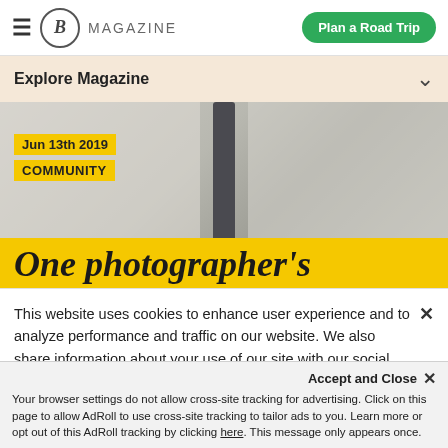MAGAZINE | Plan a Road Trip
Explore Magazine
[Figure (photo): Hero image of a photographer subject with a dark pole visible, overlaid with yellow date and category badges and a large italic headline reading 'One photographer's']
This website uses cookies to enhance user experience and to analyze performance and traffic on our website. We also share information about your use of our site with our social media and analytics partners. Roadtrippers Privacy/Cookie Policy
Accept and Close × Your browser settings do not allow cross-site tracking for advertising. Click on this page to allow AdRoll to use cross-site tracking to tailor ads to you. Learn more or opt out of this AdRoll tracking by clicking here. This message only appears once.